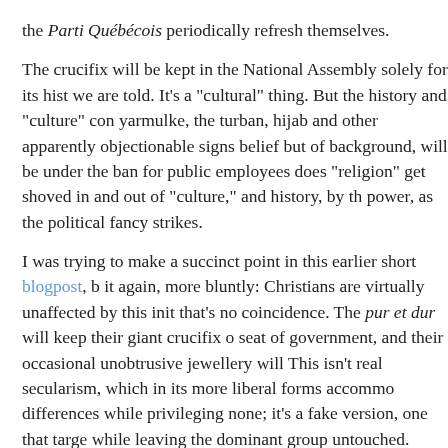the Parti Québécois periodically refresh themselves.
The crucifix will be kept in the National Assembly solely for its hist we are told. It’s a “cultural” thing. But the history and “culture” con yarmulke, the turban, hijab and other apparently objectionable signs belief but of background, will be under the ban for public employees does “religion” get shoved in and out of “culture,” and history, by th power, as the political fancy strikes.
I was trying to make a succinct point in this earlier short blogpost, b it again, more bluntly: Christians are virtually unaffected by this init that’s no coincidence. The pur et dur will keep their giant crucifix o seat of government, and their occasional unobtrusive jewellery will This isn’t real secularism, which in its more liberal forms accommo differences while privileging none; it’s a fake version, one that targe while leaving the dominant group untouched.
“Culture” is not a thing. It’s a fluid, ever-changing, dynamic process borders. There is no “this culture” or “that culture,” frozen in time. V of Inuit “culture,” for example, its soapstone carving, square dancin